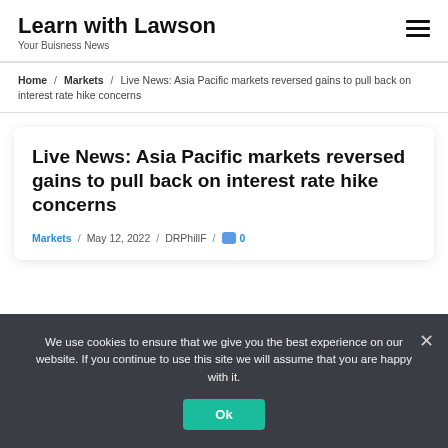Learn with Lawson
Your Buisness News
Home / Markets / Live News: Asia Pacific markets reversed gains to pull back on interest rate hike concerns
Live News: Asia Pacific markets reversed gains to pull back on interest rate hike concerns
Markets / May 12, 2022 / DRPhillF / 0
We use cookies to ensure that we give you the best experience on our website. If you continue to use this site we will assume that you are happy with it.
Ok